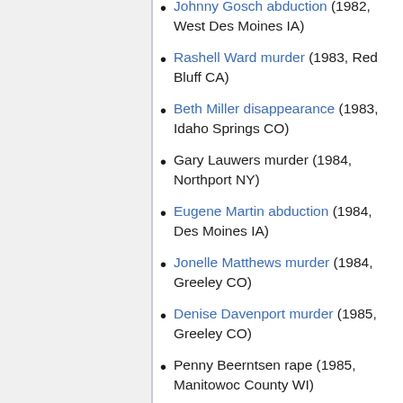Johnny Gosch abduction (1982, West Des Moines IA)
Rashell Ward murder (1983, Red Bluff CA)
Beth Miller disappearance (1983, Idaho Springs CO)
Gary Lauwers murder (1984, Northport NY)
Eugene Martin abduction (1984, Des Moines IA)
Jonelle Matthews murder (1984, Greeley CO)
Denise Davenport murder (1985, Greeley CO)
Penny Beerntsen rape (1985, Manitowoc County WI)
Juanita White murder (1986, Waco TX)
Ricky Chadek murder (1986, Omaha NE)